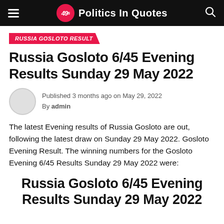49s Politics In Quotes
RUSSIA GOSLOTO RESULT
Russia Gosloto 6/45 Evening Results Sunday 29 May 2022
Published 3 months ago on May 29, 2022
By admin
The latest Evening results of Russia Gosloto are out, following the latest draw on Sunday 29 May 2022. Gosloto Evening Result. The winning numbers for the Gosloto Evening 6/45 Results Sunday 29 May 2022 were:
Russia Gosloto 6/45 Evening Results Sunday 29 May 2022